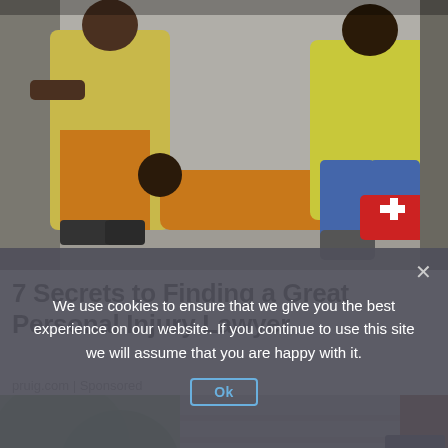[Figure (photo): Construction workers in yellow vests, one injured worker sitting on the ground being assisted by others, with a red first aid kit nearby on a construction site.]
7 Secrets to Finding a Great Personal Injury Lawyer
pruig.com | Sponsored
[Figure (photo): Exterior of a building with peeling siding, a dark flag or cloth draped over a ledge, and trees visible in the background.]
We use cookies to ensure that we give you the best experience on our website. If you continue to use this site we will assume that you are happy with it.